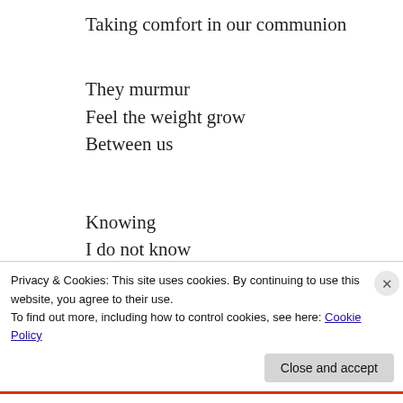Taking comfort in our communion
They murmur
Feel the weight grow
Between us
Knowing
I do not know
How they rise
So easily
Privacy & Cookies: This site uses cookies. By continuing to use this website, you agree to their use.
To find out more, including how to control cookies, see here: Cookie Policy
Close and accept